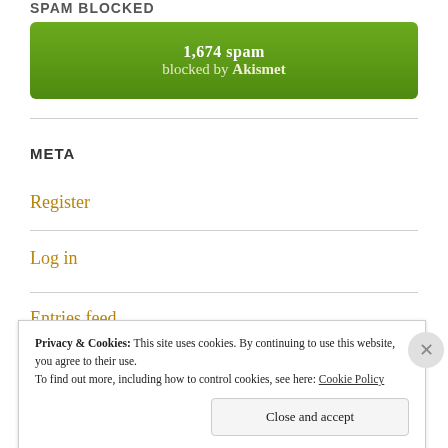SPAM BLOCKED
[Figure (infographic): Green rounded rectangle badge showing '1,674 spam blocked by Akismet']
META
Register
Log in
Entries feed
Privacy & Cookies: This site uses cookies. By continuing to use this website, you agree to their use.
To find out more, including how to control cookies, see here: Cookie Policy